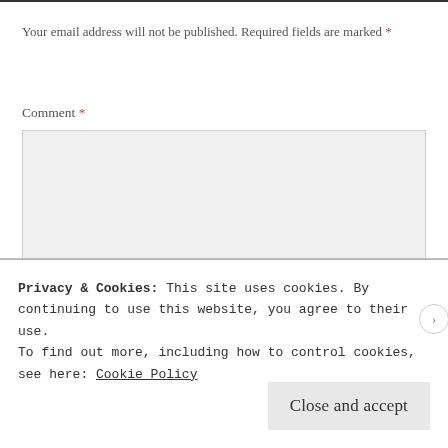Your email address will not be published. Required fields are marked *
Comment *
Name *
Privacy & Cookies: This site uses cookies. By continuing to use this website, you agree to their use.
To find out more, including how to control cookies, see here: Cookie Policy
Close and accept